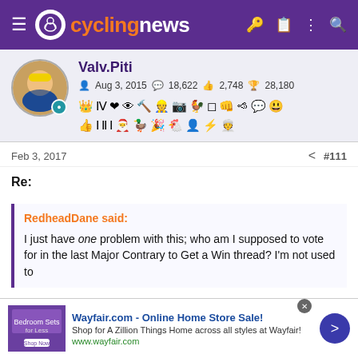cyclingnews
Valv.Piti | Aug 3, 2015 | 18,622 | 2,748 | 28,180
Feb 3, 2017   #111
Re:
RedheadDane said:
I just have one problem with this; who am I supposed to vote for in the last Major Contrary to Get a Win thread? I'm not used to
[Figure (screenshot): Wayfair.com advertisement banner: Online Home Store Sale! Shop for A Zillion Things Home across all styles at Wayfair! www.wayfair.com]